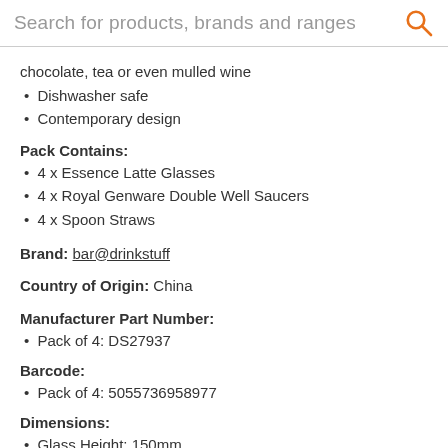Search for products, brands and ranges
chocolate, tea or even mulled wine
Dishwasher safe
Contemporary design
Pack Contains:
4 x Essence Latte Glasses
4 x Royal Genware Double Well Saucers
4 x Spoon Straws
Brand: bar@drinkstuff
Country of Origin: China
Manufacturer Part Number:
Pack of 4: DS27937
Barcode:
Pack of 4: 5055736958977
Dimensions:
Glass Height: 150mm
Glass Width: 76mm
Glass Diameter: 71mm
Glass Volume: 280ml
Glass Weight: 388g